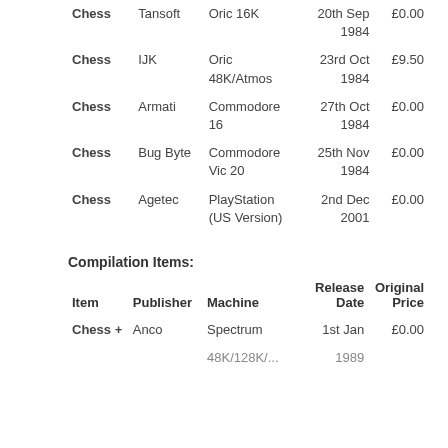| Item | Publisher | Machine | Release Date | Original Price |
| --- | --- | --- | --- | --- |
| Chess | Tansoft | Oric 16K | 20th Sep 1984 | £0.00 |
| Chess | IJK | Oric 48K/Atmos | 23rd Oct 1984 | £9.50 |
| Chess | Armati | Commodore 16 | 27th Oct 1984 | £0.00 |
| Chess | Bug Byte | Commodore Vic 20 | 25th Nov 1984 | £0.00 |
| Chess | Agetec | PlayStation (US Version) | 2nd Dec 2001 | £0.00 |
Compilation Items:
| Item | Publisher | Machine | Release Date | Original Price |
| --- | --- | --- | --- | --- |
| Chess + | Anco | Spectrum 48K/128K/... | 1st Jan 1989 | £0.00 |